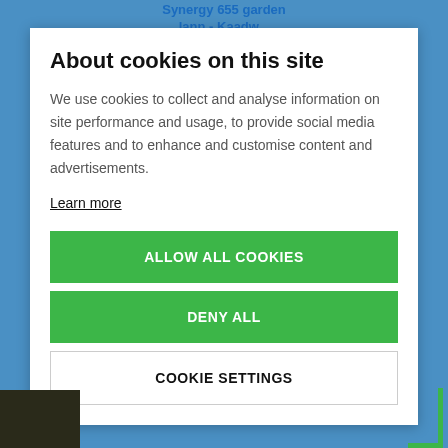Synergy 655 garden
lann - Kaadw...
About cookies on this site
We use cookies to collect and analyse information on site performance and usage, to provide social media features and to enhance and customise content and advertisements.
Learn more
ALLOW ALL COOKIES
DENY ALL
COOKIE SETTINGS